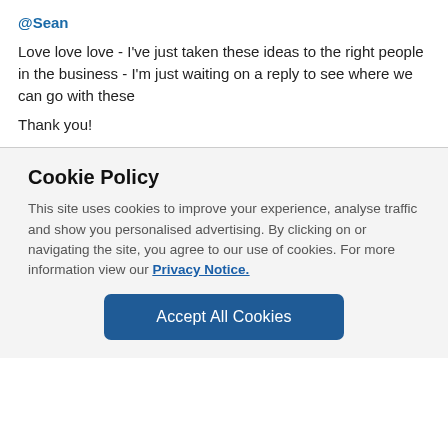@Sean
Love love love - I've just taken these ideas to the right people in the business - I'm just waiting on a reply to see where we can go with these
Thank you!
Cookie Policy
This site uses cookies to improve your experience, analyse traffic and show you personalised advertising. By clicking on or navigating the site, you agree to our use of cookies. For more information view our Privacy Notice.
Accept All Cookies